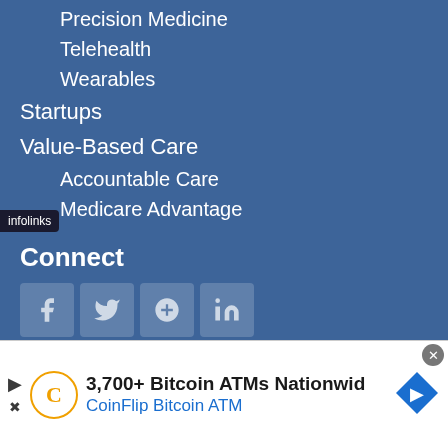Precision Medicine
Telehealth
Wearables
Startups
Value-Based Care
Accountable Care
Medicare Advantage
Connect
[Figure (illustration): Four social media icons: Facebook, Twitter, Google+, LinkedIn displayed as semi-transparent square buttons]
Subscribe To HIT Consultant Media
Latest insightful articles delivered straight to your inbox weekly
[Figure (logo): infolinks badge in dark background at bottom left]
[Figure (infographic): Advertisement banner: 3,700+ Bitcoin ATMs Nationwide - CoinFlip Bitcoin ATM with logo and map pin icon]